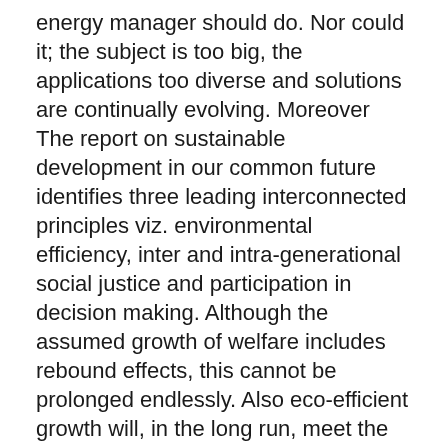energy manager should do. Nor could it; the subject is too big, the applications too diverse and solutions are continually evolving. Moreover The report on sustainable development in our common future identifies three leading interconnected principles viz. environmental efficiency, inter and intra-generational social justice and participation in decision making. Although the assumed growth of welfare includes rebound effects, this cannot be prolonged endlessly. Also eco-efficient growth will, in the long run, meet the earth limits.
Hesston Parts Manual 8400 Browse Hesston 8400 Auger Header Parts